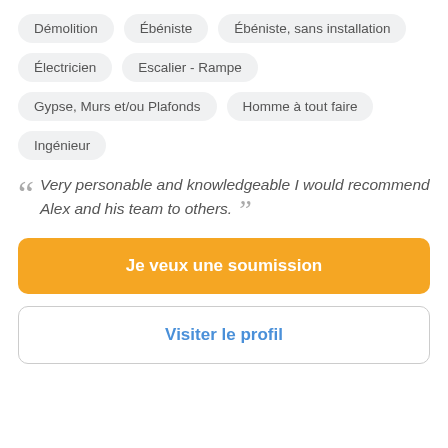Démolition
Ébéniste
Ébéniste, sans installation
Électricien
Escalier - Rampe
Gypse, Murs et/ou Plafonds
Homme à tout faire
Ingénieur
Very personable and knowledgeable I would recommend Alex and his team to others.
Je veux une soumission
Visiter le profil